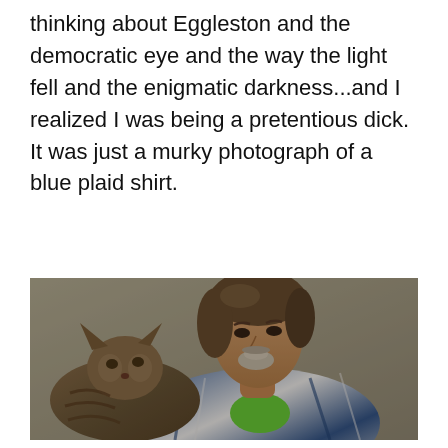thinking about Eggleston and the democratic eye and the way the light fell and the enigmatic darkness...and I realized I was being a pretentious dick. It was just a murky photograph of a blue plaid shirt.
[Figure (photo): A middle-aged man with brown shoulder-length hair and a grey goatee, wearing a blue plaid shirt over a green t-shirt, holding a tabby cat. The photo is somewhat dark and murky in tone.]